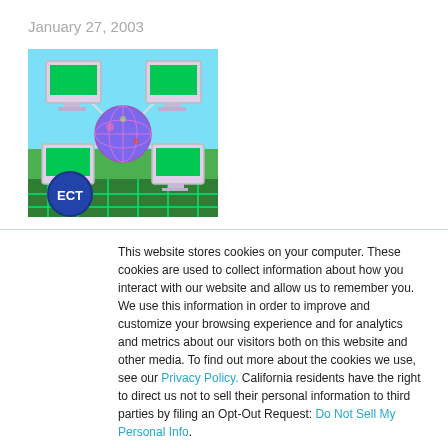January 27, 2003
[Figure (illustration): ECT network logo showing computers connected in a network with a globe in the center, on a green circuit board background. ECT badge in lower left.]
This website stores cookies on your computer. These cookies are used to collect information about how you interact with our website and allow us to remember you. We use this information in order to improve and customize your browsing experience and for analytics and metrics about our visitors both on this website and other media. To find out more about the cookies we use, see our Privacy Policy. California residents have the right to direct us not to sell their personal information to third parties by filing an Opt-Out Request: Do Not Sell My Personal Info.